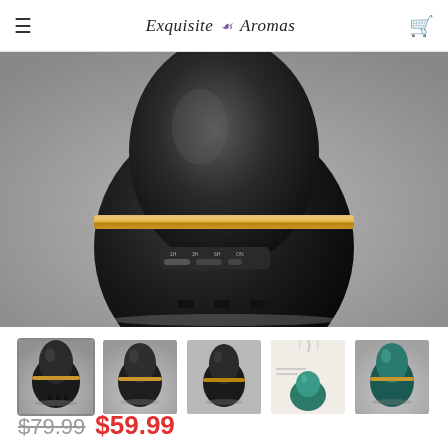Exquisite Aromas
[Figure (photo): Close-up photo of a round black essential oil diffuser with a bronze/gold ring accent and control buttons on the front, shown on a gray reflective surface.]
[Figure (photo): Thumbnail row of 5 product images: black diffuser front view (selected), black diffuser side view, black diffuser another angle, white steam/lifestyle photo, teal/green diffuser variant.]
$79.99 $59.99